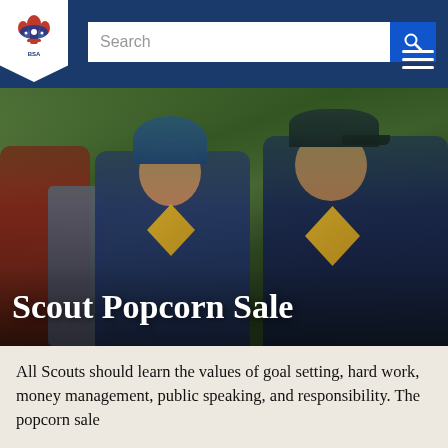[Figure (logo): Boy Scouts of America logo — fleur-de-lis emblem with eagle, red white and blue, on white pennant background]
[Figure (photo): Two boys wearing blue Cub Scout hoodies (one with a blue beanie, one with a navy baseball cap) smiling and sitting outdoors in a forest setting]
Scout Popcorn Sale
All Scouts should learn the values of goal setting, hard work, money management, public speaking, and responsibility. The popcorn sale